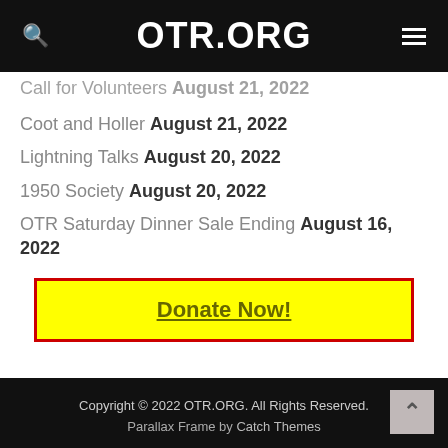OTR.ORG
Call for Volunteers August 21, 2022
Coot and Holler August 21, 2022
Lightning Talks August 20, 2022
1950 Society August 20, 2022
OTR Saturday Dinner Sale Ending August 16, 2022
Donate Now!
Copyright © 2022 OTR.ORG. All Rights Reserved.
Parallax Frame by Catch Themes